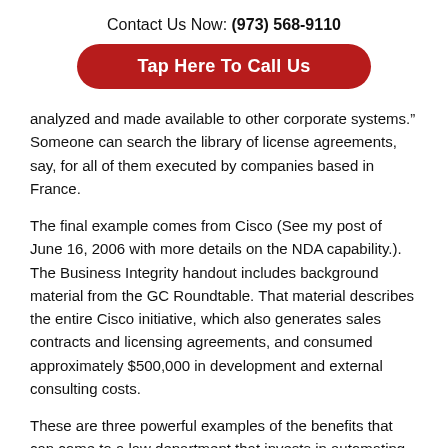Contact Us Now: (973) 568-9110
Tap Here To Call Us
analyzed and made available to other corporate systems.” Someone can search the library of license agreements, say, for all of them executed by companies based in France.
The final example comes from Cisco (See my post of June 16, 2006 with more details on the NDA capability.). The Business Integrity handout includes background material from the GC Roundtable. That material describes the entire Cisco initiative, which also generates sales contracts and licensing agreements, and consumed approximately $500,000 in development and external consulting costs.
These are three powerful examples of the benefits that can come to a law department that invests in automating